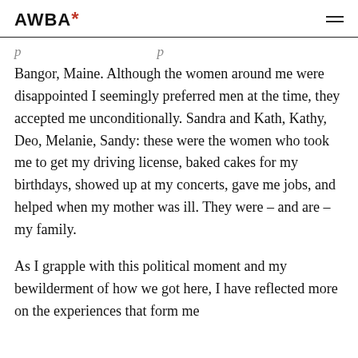AWBA*
Bangor, Maine. Although the women around me were disappointed I seemingly preferred men at the time, they accepted me unconditionally. Sandra and Kath, Kathy, Deo, Melanie, Sandy: these were the women who took me to get my driving license, baked cakes for my birthdays, showed up at my concerts, gave me jobs, and helped when my mother was ill. They were – and are – my family.
As I grapple with this political moment and my bewilderment of how we got here, I have reflected more on the experiences that form me